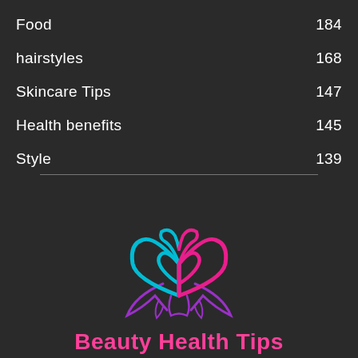Food  184
hairstyles  168
Skincare Tips  147
Health benefits  145
Style  139
[Figure (logo): Beauty Health Tips logo: a butterfly made of cyan and pink swirling heart shapes with purple wing extensions]
Beauty Health Tips